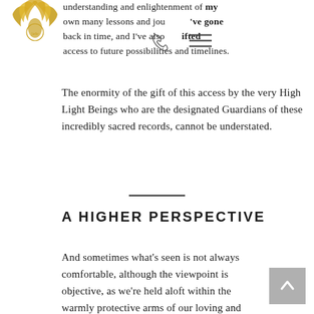[Figure (logo): Gold phoenix/bird logo with circular emblem]
understanding and enlightenment of my own many lessons and journeys. I've gone back in time, and I've also been gifted access to future possibilities and timelines.
The enormity of the gift of this access by the very High Light Beings who are the designated Guardians of these incredibly sacred records, cannot be understated.
A HIGHER PERSPECTIVE
And sometimes what's seen is not always comfortable, although the viewpoint is objective, as we're held aloft within the warmly protective arms of our loving and lightful Akashic spirit guides.